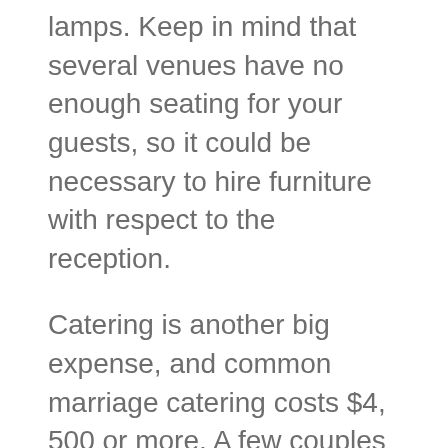lamps. Keep in mind that several venues have no enough seating for your guests, so it could be necessary to hire furniture with respect to the reception.
Catering is another big expense, and common marriage catering costs $4, 500 or more. A few couples will certainly choose a buffet-style wedding rather, saving in food costs. Others will choose a more basic menu and skip the high-end items